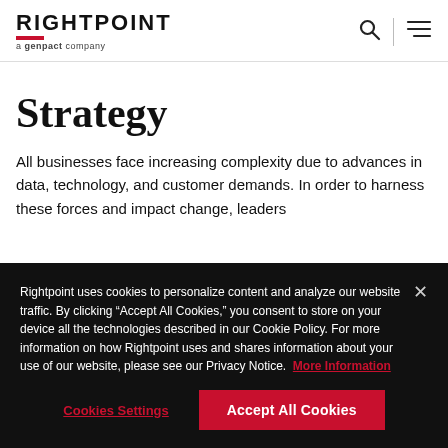RIGHTPOINT a genpact company
Strategy
All businesses face increasing complexity due to advances in data, technology, and customer demands. In order to harness these forces and impact change, leaders
Rightpoint uses cookies to personalize content and analyze our website traffic. By clicking "Accept All Cookies," you consent to store on your device all the technologies described in our Cookie Policy. For more information on how Rightpoint uses and shares information about your use of our website, please see our Privacy Notice. More Information
Cookies Settings | Accept All Cookies